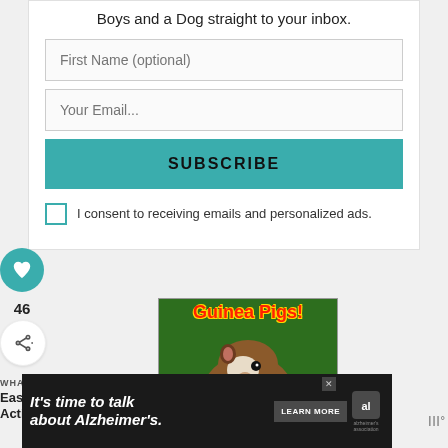Boys and a Dog straight to your inbox.
First Name (optional)
Your Email...
SUBSCRIBE
I consent to receiving emails and personalized ads.
[Figure (other): Heart icon button in teal circle]
46
[Figure (other): Share icon button]
WHAT'S NEXT → Easy Pig Activities for...
[Figure (photo): Guinea Pigs! book cover showing a guinea pig in grass with red bold text]
[Figure (infographic): Alzheimer's Association advertisement banner reading It's time to talk about Alzheimer's. with LEARN MORE button]